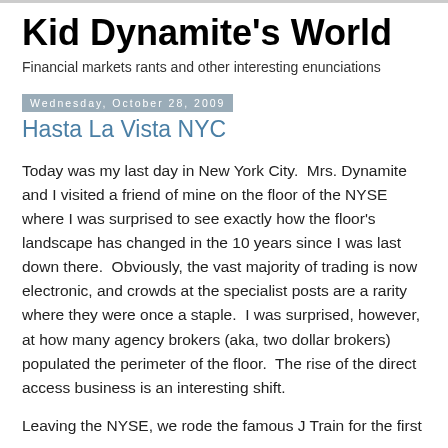Kid Dynamite's World
Financial markets rants and other interesting enunciations
Wednesday, October 28, 2009
Hasta La Vista NYC
Today was my last day in New York City.  Mrs. Dynamite and I visited a friend of mine on the floor of the NYSE where I was surprised to see exactly how the floor's landscape has changed in the 10 years since I was last down there.  Obviously, the vast majority of trading is now electronic, and crowds at the specialist posts are a rarity where they were once a staple.  I was surprised, however, at how many agency brokers (aka, two dollar brokers) populated the perimeter of the floor.  The rise of the direct access business is an interesting shift.
Leaving the NYSE, we rode the famous J Train for the first